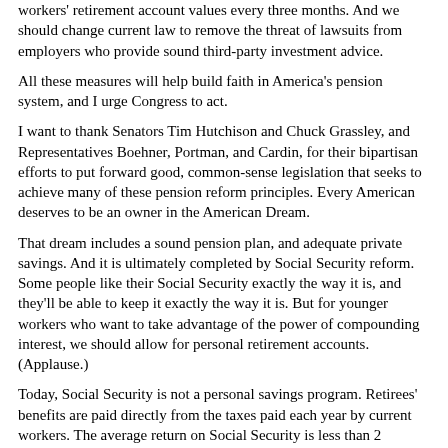workers' retirement account values every three months.  And we should change current law to remove the threat of lawsuits from employers who provide sound third-party investment advice.
All these measures will help build faith in America's pension system, and I urge Congress to act.
I want to thank Senators Tim Hutchison and Chuck Grassley, and Representatives Boehner, Portman, and Cardin, for their bipartisan efforts to put forward good, common-sense legislation that seeks to achieve many of these pension reform principles.  Every American deserves to be an owner in the American Dream.
That dream includes a sound pension plan, and adequate private savings.  And it is ultimately completed by Social Security reform.  Some people like their Social Security exactly the way it is, and they'll be able to keep it exactly the way it is.  But for younger workers who want to take advantage of the power of compounding interest, we should allow for personal retirement accounts.  (Applause.)
Today, Social Security is not a personal savings program.  Retirees' benefits are paid directly from the taxes paid each year by current workers.  The average return on Social Security is less than 2 percent.  And in the long run, Social Security can pay retirees less than 30 percent of what they earned before retiring.  And that's not good enough as we head into the 21st century.
We can do better, and a lot of people know this.  Someone retiring today after 45 years of work would be entitled to a monthly benefit of $1,128 a month from Social Security.  If that same retiree, if those Social Security taxes had been invested in the stock market over the last 45 years during